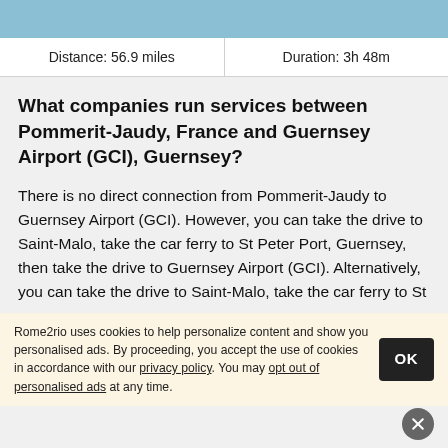| Distance: 56.9 miles | Duration: 3h 48m |
| --- | --- |
What companies run services between Pommerit-Jaudy, France and Guernsey Airport (GCI), Guernsey?
There is no direct connection from Pommerit-Jaudy to Guernsey Airport (GCI). However, you can take the drive to Saint-Malo, take the car ferry to St Peter Port, Guernsey, then take the drive to Guernsey Airport (GCI). Alternatively, you can take the drive to Saint-Malo, take the car ferry to St
Rome2rio uses cookies to help personalize content and show you personalised ads. By proceeding, you accept the use of cookies in accordance with our privacy policy. You may opt out of personalised ads at any time.